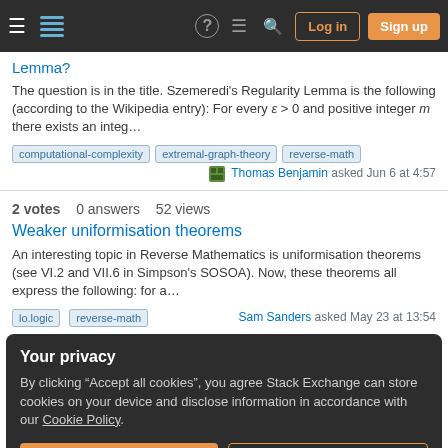Stack Exchange navigation bar with hamburger menu, logo, help, chat, search icons, Log in and Sign up buttons
Lemma?
The question is in the title. Szemeredi's Regularity Lemma is the following (according to the Wikipedia entry): For every ε > 0 and positive integer m there exists an integ…
computational-complexity
extremal-graph-theory
reverse-math
Thomas Benjamin asked Jun 6 at 4:57
2 votes  0 answers  52 views
Weaker uniformisation theorems
An interesting topic in Reverse Mathematics is uniformisation theorems (see VI.2 and VII.6 in Simpson's SOSOA). Now, these theorems all express the following: for a…
lo.logic
reverse-math
Sam Sanders asked May 23 at 13:54
Your privacy
By clicking "Accept all cookies", you agree Stack Exchange can store cookies on your device and disclose information in accordance with our Cookie Policy.
Accept all cookies
Customize settings
Jiayi Liu asked Apr 22 at 0:25